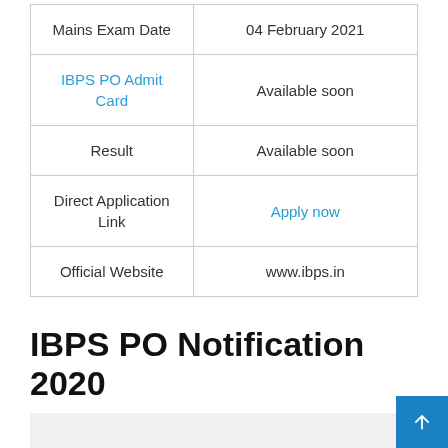| Mains Exam Date | 04 February 2021 |
| IBPS PO Admit Card | Available soon |
| Result | Available soon |
| Direct Application Link | Apply now |
| Official Website | www.ibps.in |
IBPS PO Notification 2020